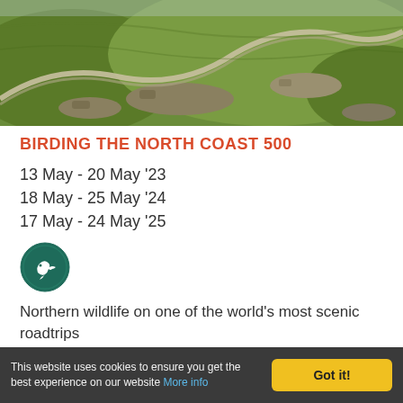[Figure (photo): Aerial/landscape photo of a winding road through green hilly terrain with rocks, Scotland highlands.]
BIRDING THE NORTH COAST 500
13 May - 20 May '23
18 May - 25 May '24
17 May - 24 May '25
[Figure (logo): Dark green circular icon with a white silhouette of a bird (wading bird/nightjar style).]
Northern wildlife on one of the world's most scenic roadtrips
Prices from £1845 pp
This website uses cookies to ensure you get the best experience on our website More info